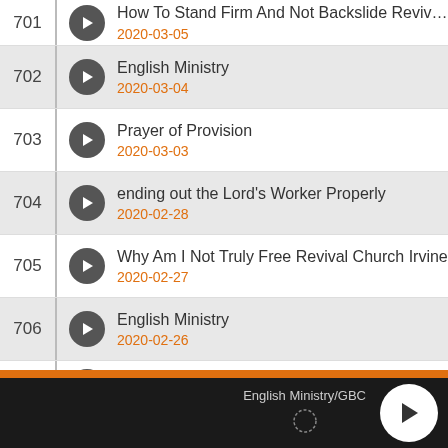701 | How To Stand Firm And Not Backslide Revival... | 2020-03-05
702 | English Ministry | 2020-03-04
703 | Prayer of Provision | 2020-03-03
704 | ending out the Lord's Worker Properly | 2020-02-28
705 | Why Am I Not Truly Free Revival Church Irvine | 2020-02-27
706 | English Ministry | 2020-02-26
707 | Sherine_Prayer of Gratitude
English Ministry/GBC